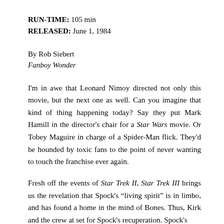RUN-TIME: 105 min
RELEASED: June 1, 1984
By Rob Siebert
Fanboy Wonder
I'm in awe that Leonard Nimoy directed not only this movie, but the next one as well. Can you imagine that kind of thing happening today? Say they put Mark Hamill in the director's chair for a Star Wars movie. Or Tobey Maguire in charge of a Spider-Man flick. They'd be hounded by toxic fans to the point of never wanting to touch the franchise ever again.
Fresh off the events of Star Trek II, Star Trek III brings us the revelation that Spock's “living spirit” is in limbo, and has found a home in the mind of Bones. Thus, Kirk and the crew at set for Spock's recuperation. Spock's...